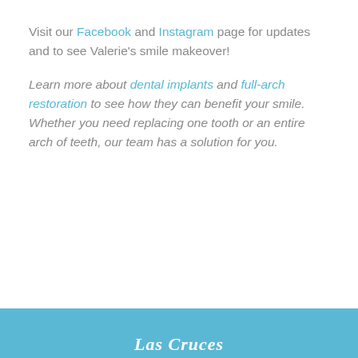Visit our Facebook and Instagram page for updates and to see Valerie's smile makeover!
Learn more about dental implants and full-arch restoration to see how they can benefit your smile. Whether you need replacing one tooth or an entire arch of teeth, our team has a solution for you.
Las Cruces